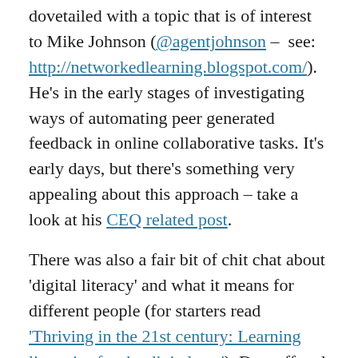dovetailed with a topic that is of interest to Mike Johnson (@agentjohnson – see: http://networkedlearning.blogspot.com/). He's in the early stages of investigating ways of automating peer generated feedback in online collaborative tasks. It's early days, but there's something very appealing about this approach – take a look at his CEQ related post.
There was also a fair bit of chit chat about 'digital literacy' and what it means for different people (for starters read 'Thriving in the 21st century: Learning literacies for the digital age'). Do staff and students in different subject areas and disciplines understand it in the same way? In what way is different or the same as (Information Literacy, Media Literacy)?